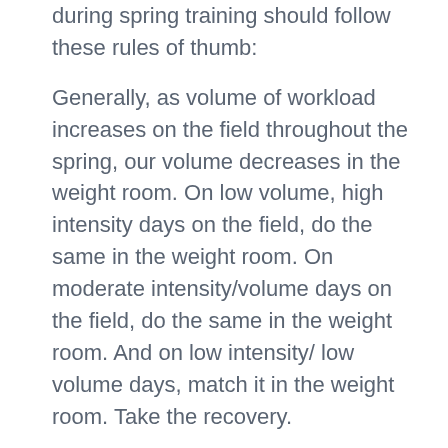during spring training should follow these rules of thumb:
Generally, as volume of workload increases on the field throughout the spring, our volume decreases in the weight room. On low volume, high intensity days on the field, do the same in the weight room. On moderate intensity/volume days on the field, do the same in the weight room. And on low intensity/ low volume days, match it in the weight room. Take the recovery.
The only days you should stray from matching the volume and intensity is on high volume days. High volume/ high intensity on the field equals an off day in the gym. Moderate intensity/ high volume equals low volume, moderate intensity in the gym. Low intensity/ high volume should mean high